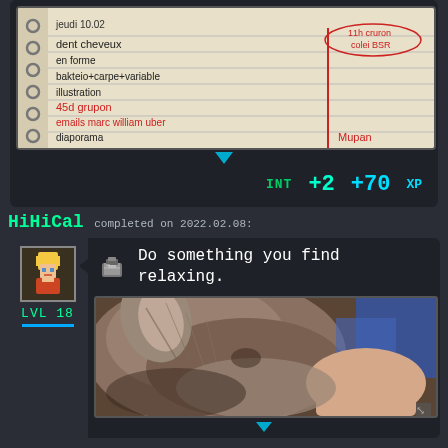[Figure (photo): A spiral notebook with handwritten notes in French and red ink, showing a to-do list with items like 'jeudi 10.02', 'dent cheveux', 'en forme', 'bakteio+carpe+variable', 'illustration', '45d grupon', 'emails marc william uber', 'diaporama', and circled text '11h cruron colei BSR']
INT +2   +70 XP
HiHiCal completed on 2022.02.08:
[Figure (illustration): Pixel art avatar of a blonde anime-style character]
LVL 18
[Figure (illustration): Pixel art icon of a bag/pouch item]
Do something you find relaxing.
[Figure (photo): Close-up photo of someone cuddling a fluffy cat/rabbit, with blue fabric visible in background]